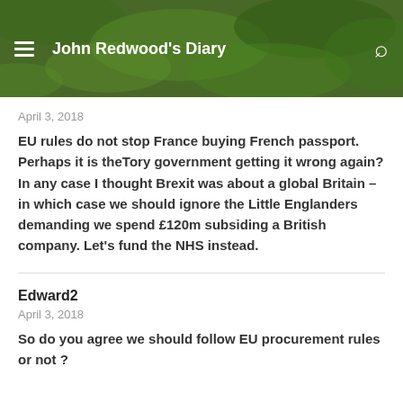John Redwood's Diary
April 3, 2018
EU rules do not stop France buying French passport. Perhaps it is theTory government getting it wrong again? In any case I thought Brexit was about a global Britain – in which case we should ignore the Little Englanders demanding we spend £120m subsiding a British company. Let's fund the NHS instead.
Edward2
April 3, 2018
So do you agree we should follow EU procurement rules or not ?